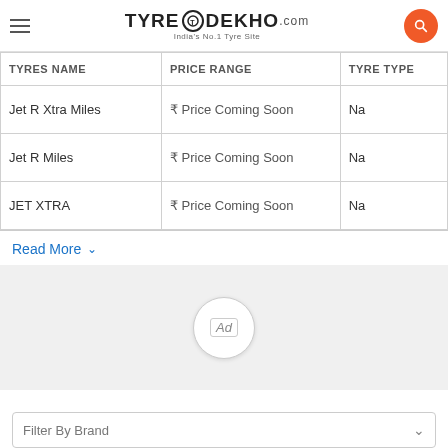TyreDekho.com — India's No.1 Tyre Site
| TYRES NAME | PRICE RANGE | TYRE TYPE |
| --- | --- | --- |
| Jet R Xtra Miles | ₹ Price Coming Soon | Na |
| Jet R Miles | ₹ Price Coming Soon | Na |
| JET XTRA | ₹ Price Coming Soon | Na |
Read More
[Figure (other): Ad placeholder circle with 'Ad' label on grey background]
Filter By Brand